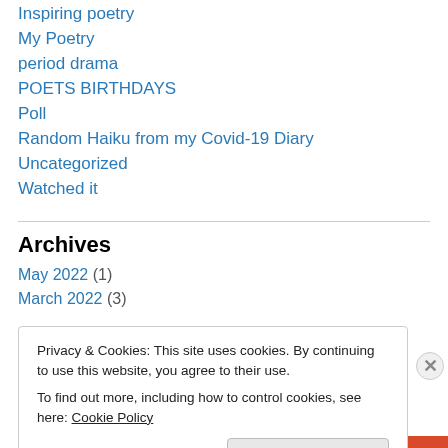Inspiring poetry
My Poetry
period drama
POETS BIRTHDAYS
Poll
Random Haiku from my Covid-19 Diary
Uncategorized
Watched it
Archives
May 2022 (1)
March 2022 (3)
Privacy & Cookies: This site uses cookies. By continuing to use this website, you agree to their use. To find out more, including how to control cookies, see here: Cookie Policy